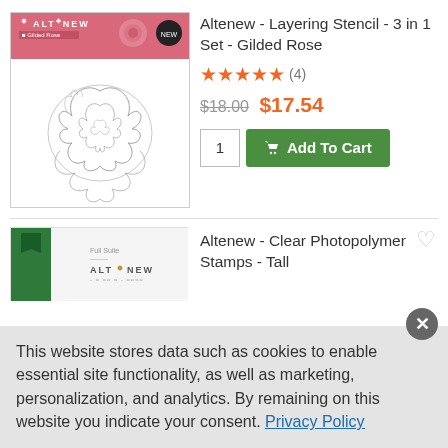[Figure (photo): Product image for Altenew Layering Stencil - 3 in 1 Set - Gilded Rose, showing the Altenew branded packaging with pink header and a line drawing of a rose on a white background below it.]
Altenew - Layering Stencil - 3 in 1 Set - Gilded Rose
★★★★★ (4)
$18.00  $17.54
1  Add To Cart
[Figure (photo): Partial product image for Altenew Clear Photopolymer Stamps - Tall Tales, showing the Altenew branded packaging.]
Altenew - Clear Photopolymer Stamps - Tall
This website stores data such as cookies to enable essential site functionality, as well as marketing, personalization, and analytics. By remaining on this website you indicate your consent. Privacy Policy